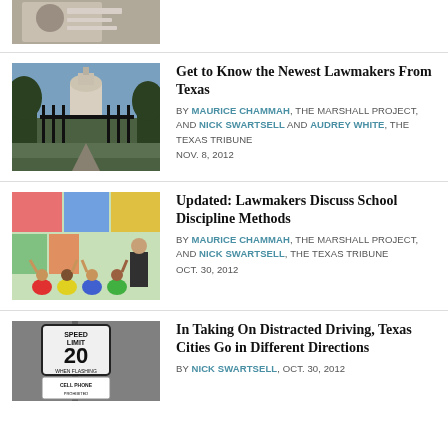[Figure (photo): Partial top image, person with document]
[Figure (photo): Texas State Capitol through iron gates with trees]
Get to Know the Newest Lawmakers From Texas
BY MAURICE CHAMMAH, THE MARSHALL PROJECT, AND NICK SWARTSELL AND AUDREY WHITE, THE TEXAS TRIBUNE NOV. 8, 2012
[Figure (photo): Teacher and children in a colorful classroom]
Updated: Lawmakers Discuss School Discipline Methods
BY MAURICE CHAMMAH, THE MARSHALL PROJECT, AND NICK SWARTSELL, THE TEXAS TRIBUNE OCT. 30, 2012
[Figure (photo): Speed limit 20 sign with cell phone warning]
In Taking On Distracted Driving, Texas Cities Go in Different Directions
BY NICK SWARTSELL, OCT. 30, 2012